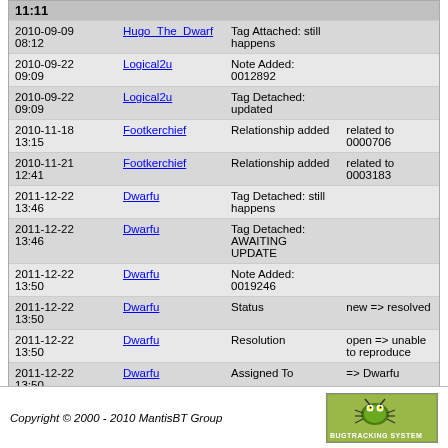| Date | Username | Action | Detail |
| --- | --- | --- | --- |
| 2010-09-09 08:12 | Hugo_The_Dwarf | Tag Attached: still happens |  |
| 2010-09-22 09:09 | Logical2u | Note Added: 0012892 |  |
| 2010-09-22 09:09 | Logical2u | Tag Detached: updated |  |
| 2010-11-18 13:15 | Footkerchief | Relationship added | related to 0000706 |
| 2010-11-21 12:41 | Footkerchief | Relationship added | related to 0003183 |
| 2011-12-22 13:46 | Dwarfu | Tag Detached: still happens |  |
| 2011-12-22 13:46 | Dwarfu | Tag Detached: AWAITING UPDATE |  |
| 2011-12-22 13:50 | Dwarfu | Note Added: 0019246 |  |
| 2011-12-22 13:50 | Dwarfu | Status | new => resolved |
| 2011-12-22 13:50 | Dwarfu | Resolution | open => unable to reproduce |
| 2011-12-22 13:50 | Dwarfu | Assigned To | => Dwarfu |
Copyright © 2000 - 2010 MantisBT Group